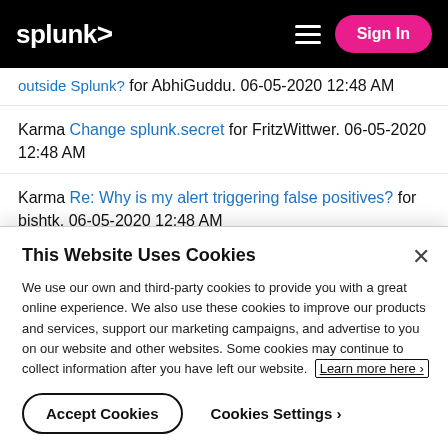splunk> Sign In
outside Splunk? for AbhiGuddu. 06-05-2020 12:48 AM
Karma Change splunk.secret for FritzWittwer. 06-05-2020 12:48 AM
Karma Re: Why is my alert triggering false positives? for bishtk. 06-05-2020 12:48 AM
This Website Uses Cookies
We use our own and third-party cookies to provide you with a great online experience. We also use these cookies to improve our products and services, support our marketing campaigns, and advertise to you on our website and other websites. Some cookies may continue to collect information after you have left our website. Learn more here ›
Accept Cookies   Cookies Settings ›